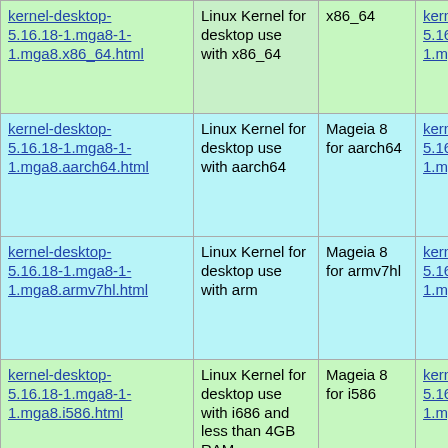| kernel-desktop-5.16.18-1.mga8-1-1.mga8.x86_64.html | Linux Kernel for desktop use with x86_64 | x86_64 | kernel-desktop-5.16.18-1.mga8-1-1.mga8.x86_64.rpm |
| kernel-desktop-5.16.18-1.mga8-1-1.mga8.aarch64.html | Linux Kernel for desktop use with aarch64 | Mageia 8 for aarch64 | kernel-desktop-5.16.18-1.mga8-1-1.mga8.aarch64.rpm |
| kernel-desktop-5.16.18-1.mga8-1-1.mga8.armv7hl.html | Linux Kernel for desktop use with arm | Mageia 8 for armv7hl | kernel-desktop-5.16.18-1.mga8-1-1.mga8.armv7hl.rpm |
| kernel-desktop-5.16.18-1.mga8-1-1.mga8.i586.html | Linux Kernel for desktop use with i686 and less than 4GB RAM | Mageia 8 for i586 | kernel-desktop-5.16.18-1.mga8-1-1.mga8.i586.rpm |